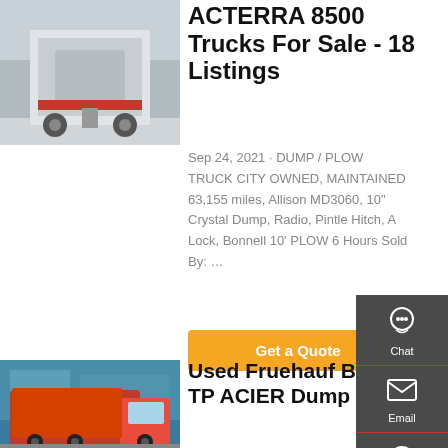[Figure (photo): Rear view of white/grey trucks parked in a lot, ACTERRA 8500 trucks]
ACTERRA 8500 Trucks For Sale - 18 Listings
Sep 24, 2021 · DUMP / PLOW TRUCK CITY OWNED, MAINTAINED 63,155 miles, Allison MD3060, 10" Crystal Dump, Radio, Pintle Hitch, A Lock, Bonnell 10' PLOW 6 Hours Sold By: …
Get a Quote
[Figure (photo): Red dump truck (Fruehauf BENNE TP ACIER) parked in front of a building]
Used Fruehauf BENNE TP ACIER Dump Wagons